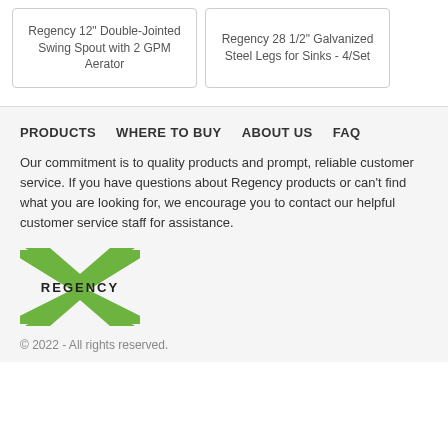Regency 12" Double-Jointed Swing Spout with 2 GPM Aerator
Regency 28 1/2" Galvanized Steel Legs for Sinks - 4/Set
PRODUCTS
WHERE TO BUY
ABOUT US
FAQ
Our commitment is to quality products and prompt, reliable customer service. If you have questions about Regency products or can't find what you are looking for, we encourage you to contact our helpful customer service staff for assistance.
[Figure (logo): Regency brand logo with green X/star shape and REGENCY text in black]
© 2022 - All rights reserved.